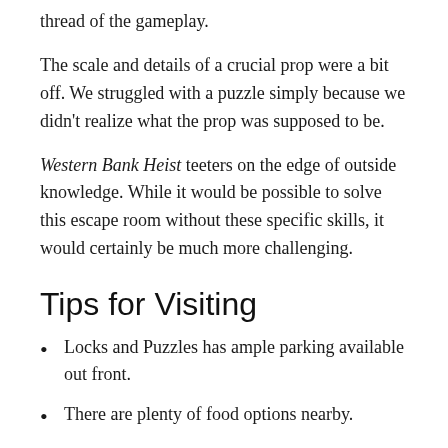thread of the gameplay.
The scale and details of a crucial prop were a bit off. We struggled with a puzzle simply because we didn't realize what the prop was supposed to be.
Western Bank Heist teeters on the edge of outside knowledge. While it would be possible to solve this escape room without these specific skills, it would certainly be much more challenging.
Tips for Visiting
Locks and Puzzles has ample parking available out front.
There are plenty of food options nearby.
Book your hour with Locks and Puzzles', and tell them that